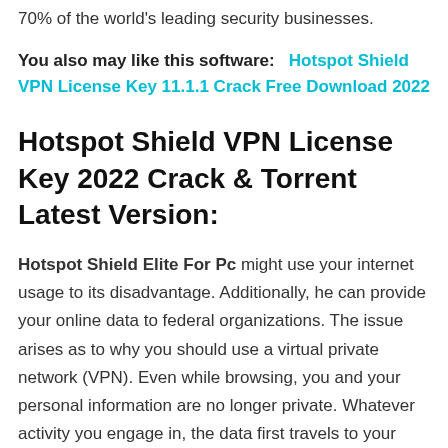70% of the world's leading security businesses.
You also may like this software:   Hotspot Shield VPN License Key 11.1.1 Crack Free Download 2022
Hotspot Shield VPN License Key 2022 Crack & Torrent Latest Version:
Hotspot Shield Elite For Pc might use your internet usage to its disadvantage. Additionally, he can provide your online data to federal organizations. The issue arises as to why you should use a virtual private network (VPN). Even while browsing, you and your personal information are no longer private. Whatever activity you engage in, the data first travels to your Internet Service Provider before